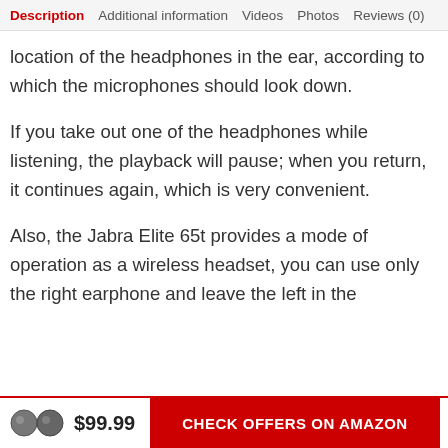Description | Additional information | Videos | Photos | Reviews (0)
location of the headphones in the ear, according to which the microphones should look down.

If you take out one of the headphones while listening, the playback will pause; when you return, it continues again, which is very convenient.

Also, the Jabra Elite 65t provides a mode of operation as a wireless headset, you can use only the right earphone and leave the left in the
$99.99  CHECK OFFERS ON AMAZON